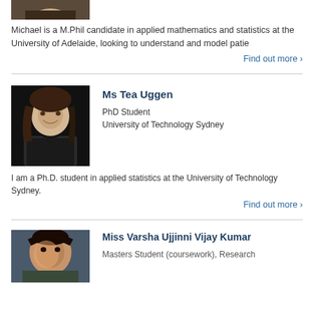[Figure (photo): Partial photo of a person at the top of the page (cropped)]
Michael is a M.Phil candidate in applied mathematics and statistics at the University of Adelaide, looking to understand and model patie
Find out more ›
[Figure (photo): Portrait photo of Ms Tea Uggen, a young woman with dark hair, smiling, against a dark background]
Ms Tea Uggen
PhD Student
University of Technology Sydney
I am a Ph.D. student in applied statistics at the University of Technology Sydney.
Find out more ›
[Figure (photo): Portrait photo of Miss Varsha Ujjinni Vijay Kumar, a woman with dark hair]
Miss Varsha Ujjinni Vijay Kumar
Masters Student (coursework), Research